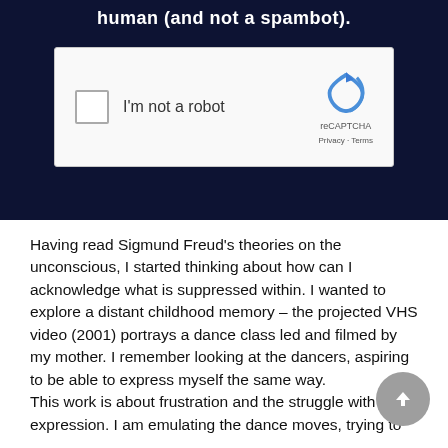[Figure (screenshot): reCAPTCHA widget on dark navy background with 'I'm not a robot' checkbox, reCAPTCHA logo, Privacy and Terms links]
Having read Sigmund Freud's theories on the unconscious, I started thinking about how can I acknowledge what is suppressed within. I wanted to explore a distant childhood memory – the projected VHS video (2001) portrays a dance class led and filmed by my mother. I remember looking at the dancers, aspiring to be able to express myself the same way.
This work is about frustration and the struggle with expression. I am emulating the dance moves, trying to